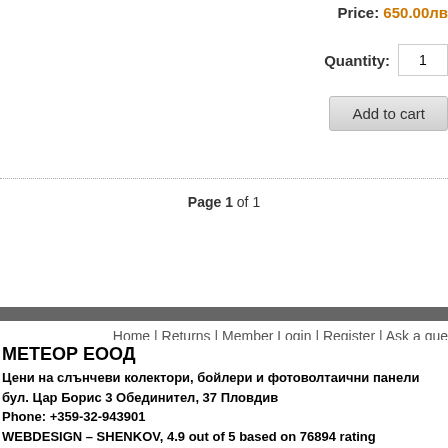Price: 650.00лв
Quantity: 1
Add to cart
Page 1 of 1
Home | Returns | Member Login | Register | Ask a que...
Address: Bulgaria, P... Phone: ... E-mail: ...
МЕТЕОР ЕООД
Цени на слънчеви колектори, бойлери и фотоволтаични панели бул. Цар Борис 3 Обединител, 37 Пловдив Phone: +359-32-943901 WEBDESIGN – SHENKOV, 4.9 out of 5 based on 76894 rating